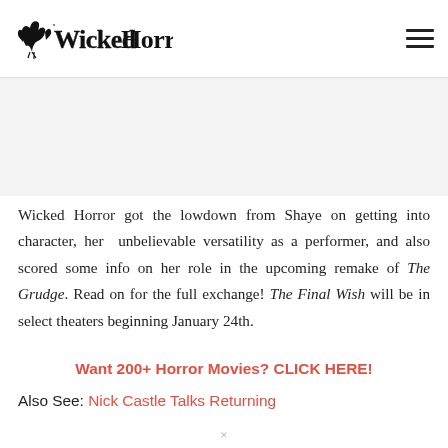Wicked Horror
[Figure (logo): Wicked Horror logo with stylized horror-font text and small creature illustration]
Wicked Horror got the lowdown from Shaye on getting into character, her  unbelievable versatility as a performer, and also scored some info on her role in the upcoming remake of The Grudge. Read on for the full exchange! The Final Wish will be in select theaters beginning January 24th.
Want 200+ Horror Movies? CLICK HERE!
Also See: Nick Castle Talks Returning